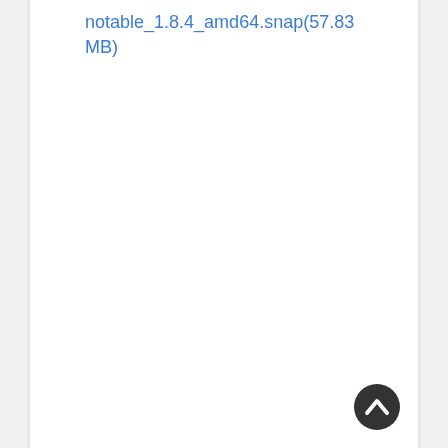notable_1.8.4_amd64.snap(57.83 MB)
[Figure (other): Back to top button — circular dark button with an upward chevron arrow icon]